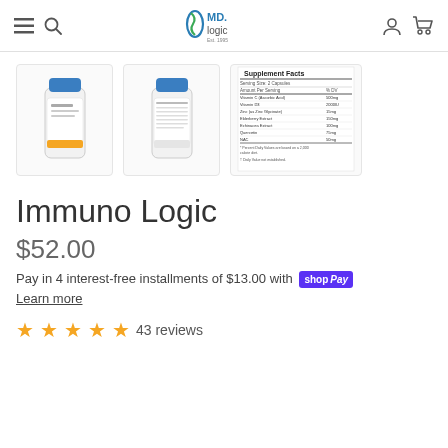MD Logic header with hamburger menu, search, logo, account, cart
[Figure (photo): Three product thumbnails: front of Immuno Logic supplement bottle, back of bottle, and supplement facts label]
Immuno Logic
$52.00
Pay in 4 interest-free installments of $13.00 with shop Pay
Learn more
43 reviews